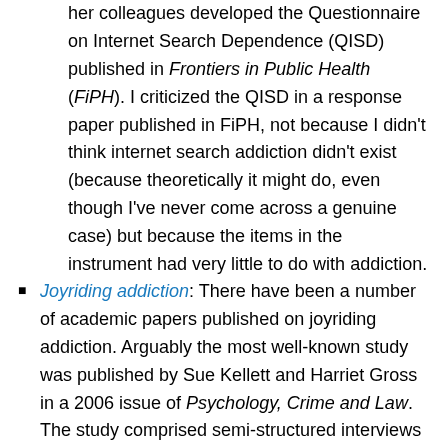her colleagues developed the Questionnaire on Internet Search Dependence (QISD) published in Frontiers in Public Health (FiPH). I criticized the QISD in a response paper published in FiPH, not because I didn't think internet search addiction didn't exist (because theoretically it might do, even though I've never come across a genuine case) but because the items in the instrument had very little to do with addiction.
Joyriding addiction: There have been a number of academic papers published on joyriding addiction. Arguably the most well-known study was published by Sue Kellett and Harriet Gross in a 2006 issue of Psychology, Crime and Law. The study comprised semi-structured interviews with 54 joyriders (aged 15 to 21 years of age) all of whom were convicted car